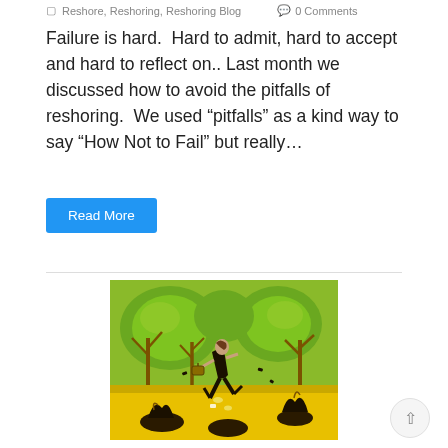Reshore, Reshoring, Reshoring Blog   0 Comments
Failure is hard.  Hard to admit, hard to accept and hard to reflect on.. Last month we discussed how to avoid the pitfalls of reshoring.  We used “pitfalls” as a kind way to say “How Not to Fail” but really…
Read More
[Figure (illustration): Illustration of a person in a black dress running through a yellow and green landscape with pitfall traps and dark creatures emerging from holes in the ground, with bare branch-like trees and green foliage in the background.]